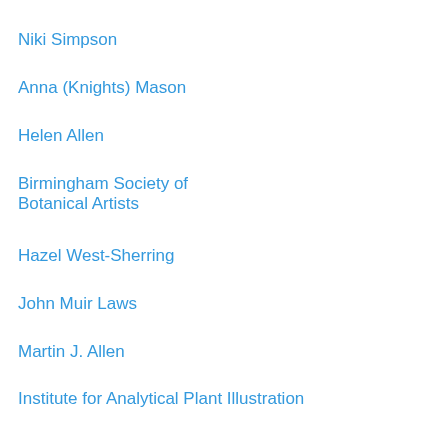Niki Simpson
Anna (Knights) Mason
Helen Allen
Birmingham Society of Botanical Artists
Hazel West-Sherring
John Muir Laws
Martin J. Allen
Institute for Analytical Plant Illustration
Mairi Gillies
Georgius Everhardus Rumphius
Liz Leech
Valerie Littlewood